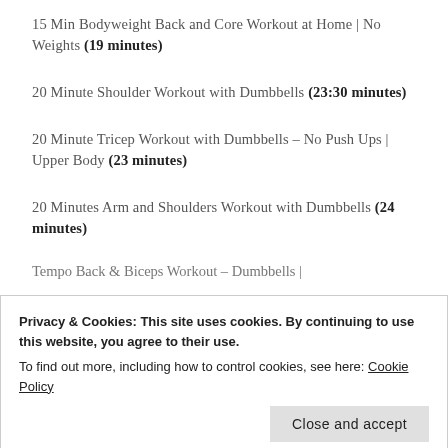15 Min Bodyweight Back and Core Workout at Home | No Weights (19 minutes)
20 Minute Shoulder Workout with Dumbbells (23:30 minutes)
20 Minute Tricep Workout with Dumbbells – No Push Ups | Upper Body (23 minutes)
20 Minutes Arm and Shoulders Workout with Dumbbells (24 minutes)
Tempo Back & Biceps Workout – Dumbbells |
Privacy & Cookies: This site uses cookies. By continuing to use this website, you agree to their use.
To find out more, including how to control cookies, see here: Cookie Policy
20 Minute Dumbbell Upper Body Circuit Workout